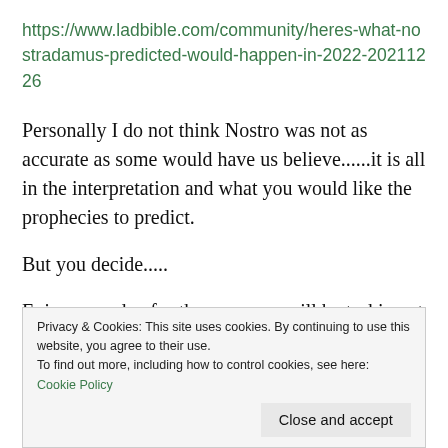https://www.ladbible.com/community/heres-what-nostradamus-predicted-would-happen-in-2022-20211226
Personally I do not think Nostro was not as accurate as some would have us believe......it is all in the interpretation and what you would like the prophecies to predict.
But you decide.....
Enjoy your day for the new year will be tasking at best
Privacy & Cookies: This site uses cookies. By continuing to use this website, you agree to their use.
To find out more, including how to control cookies, see here: Cookie Policy
Close and accept